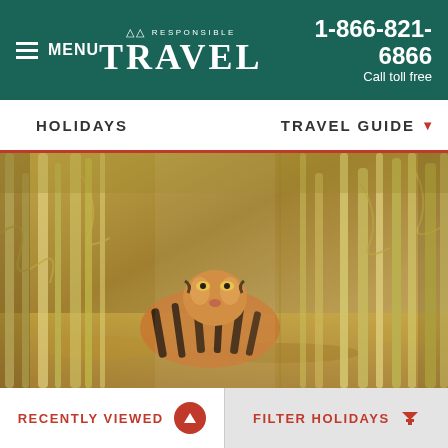≡ MENU | RESPONSIBLE TRAVEL | 1-866-821-6866 Call toll free
HOLIDAYS
TRAVEL GUIDE ▼
[Figure (photo): A tiger partially hidden among tall dry bamboo stalks and grass in a forest setting, looking toward the camera]
RECENTLY VIEWED ▲ | FILTER HOLIDAYS ▼